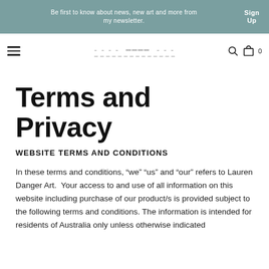Be first to know about news, new art and more from my newsletter. Sign Up
Terms and Privacy
WEBSITE TERMS AND CONDITIONS
In these terms and conditions, “we” “us” and “our” refers to Lauren Danger Art.  Your access to and use of all information on this website including purchase of our product/s is provided subject to the following terms and conditions. The information is intended for residents of Australia only unless otherwise indicated (hereinafter “content standards”).